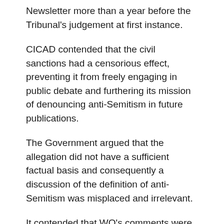Newsletter more than a year before the Tribunal's judgement at first instance.
CICAD contended that the civil sanctions had a censorious effect, preventing it from freely engaging in public debate and furthering its mission of denouncing anti-Semitism in future publications.
The Government argued that the allegation did not have a sufficient factual basis and consequently a discussion of the definition of anti-Semitism was misplaced and irrelevant.
It contended that WO's comments were neither anti-Semitic according to its traditional definition nor its modern one: creating a link between the State of Israel and Judaism could not be considered anti-Semitic, and the situation would not be different if it concerned a nation other than the State of Israel.